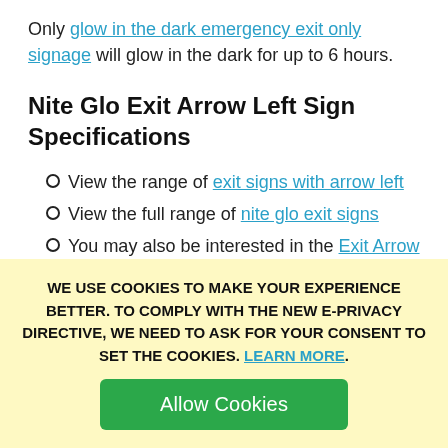Only glow in the dark emergency exit only signage will glow in the dark for up to 6 hours.
Nite Glo Exit Arrow Left Sign Specifications
View the range of exit signs with arrow left
View the full range of nite glo exit signs
You may also be interested in the Exit Arrow Left Signs
A similar choice of signs are the Xtra-Glo Exit Man Arrow Left Corridor Signs
Ensures compliance under the latest signs
WE USE COOKIES TO MAKE YOUR EXPERIENCE BETTER. TO COMPLY WITH THE NEW E-PRIVACY DIRECTIVE, WE NEED TO ASK FOR YOUR CONSENT TO SET THE COOKIES. LEARN MORE.
Allow Cookies